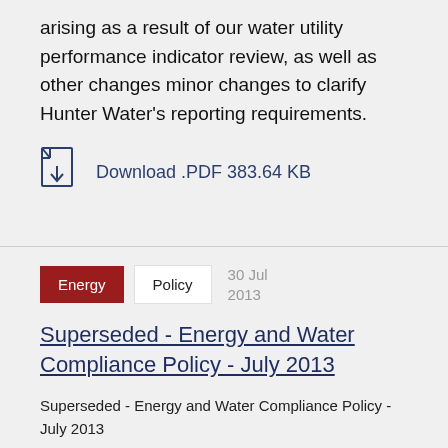arising as a result of our water utility performance indicator review, as well as other changes minor changes to clarify Hunter Water's reporting requirements.
Download .PDF 383.64 KB
Energy   Policy   30 Jul 2013
Superseded - Energy and Water Compliance Policy - July 2013
Superseded - Energy and Water Compliance Policy - July 2013